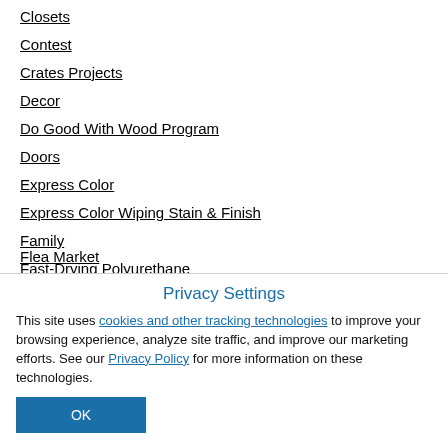Closets
Contest
Crates Projects
Decor
Do Good With Wood Program
Doors
Express Color
Express Color Wiping Stain & Finish
Family
Fast-Drying Polyurethane
Fast-Drying Polyurethane Aerosol
Flea Market
Privacy Settings
This site uses cookies and other tracking technologies to improve your browsing experience, analyze site traffic, and improve our marketing efforts. See our Privacy Policy for more information on these technologies.
OK